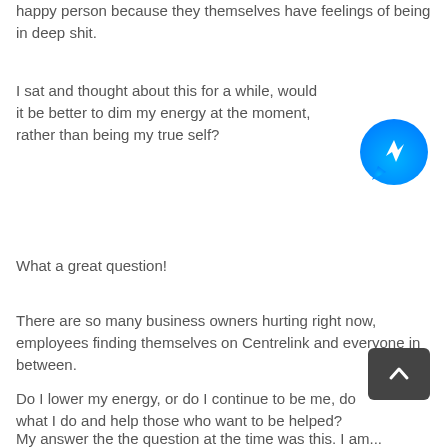happy person because they themselves have feelings of being in deep shit.
I sat and thought about this for a while, would it be better to dim my energy at the moment, rather than being my true self?
[Figure (logo): Facebook Messenger blue circular icon with white lightning bolt]
What a great question!
There are so many business owners hurting right now, employees finding themselves on Centrelink and everyone in between.
Do I lower my energy, or do I continue to be me, do what I do and help those who want to be helped?
My answer the the question at the time was this. I am...